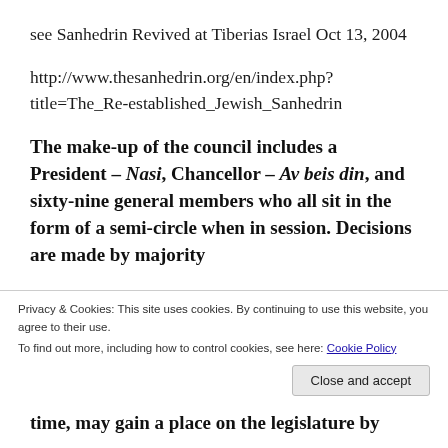see Sanhedrin Revived at Tiberias Israel Oct 13, 2004
http://www.thesanhedrin.org/en/index.php?title=The_Re-established_Jewish_Sanhedrin
The make-up of the council includes a President – Nasi, Chancellor – Av beis din, and sixty-nine general members who all sit in the form of a semi-circle when in session. Decisions are made by majority
Privacy & Cookies: This site uses cookies. By continuing to use this website, you agree to their use.
To find out more, including how to control cookies, see here: Cookie Policy
time, may gain a place on the legislature by